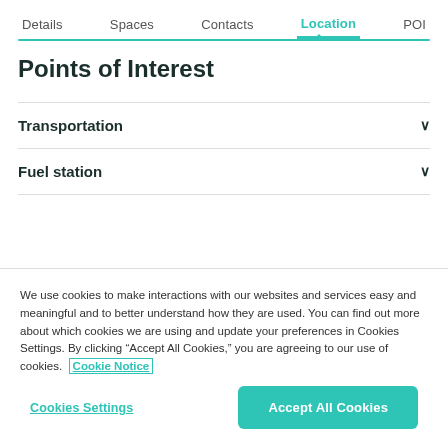Details  Spaces  Contacts  Location  POI
Points of Interest
Transportation
Fuel station
We use cookies to make interactions with our websites and services easy and meaningful and to better understand how they are used. You can find out more about which cookies we are using and update your preferences in Cookies Settings. By clicking “Accept All Cookies,” you are agreeing to our use of cookies.  Cookie Notice
Cookies Settings  Accept All Cookies